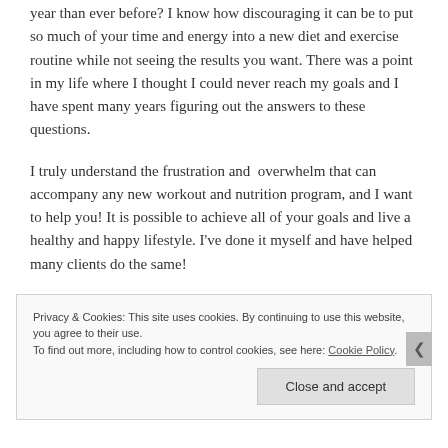year than ever before? I know how discouraging it can be to put so much of your time and energy into a new diet and exercise routine while not seeing the results you want. There was a point in my life where I thought I could never reach my goals and I have spent many years figuring out the answers to these questions.
I truly understand the frustration and overwhelm that can accompany any new workout and nutrition program, and I want to help you! It is possible to achieve all of your goals and live a healthy and happy lifestyle. I've done it myself and have helped many clients do the same!
Privacy & Cookies: This site uses cookies. By continuing to use this website, you agree to their use. To find out more, including how to control cookies, see here: Cookie Policy
Close and accept